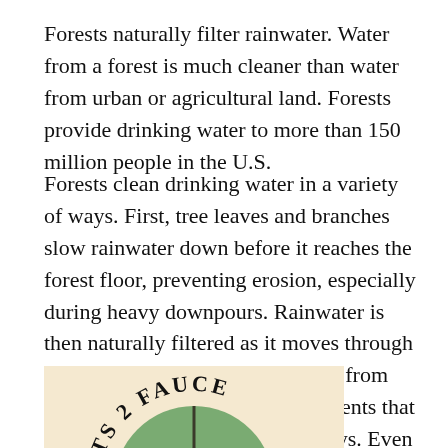Forests naturally filter rainwater. Water from a forest is much cleaner than water from urban or agricultural land. Forests provide drinking water to more than 150 million people in the U.S.
Forests clean drinking water in a variety of ways. First, tree leaves and branches slow rainwater down before it reaches the forest floor, preventing erosion, especially during heavy downpours. Rainwater is then naturally filtered as it moves through the soil. Tree roots keep sediment from reaching streams and absorb nutrients that would otherwise pollute waterways. Even if they are far away from where surface water is pumped to provide supplies, forests help keep drinking water clean and safe.
[Figure (logo): Circular logo partially visible showing text 'STS 2 FAUCE' (Forests 2 Faucet) in black letters around a green circle with a tree/watershed symbol, on a tan/cream background.]